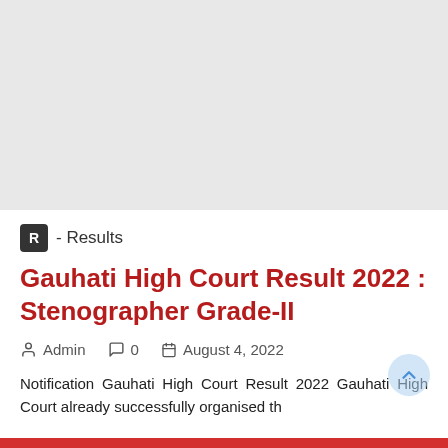[Figure (other): Grey banner area at top of page, likely an advertisement placeholder]
R - Results
Gauhati High Court Result 2022 : Stenographer Grade-II
Admin   0   August 4, 2022
Notification Gauhati High Court Result 2022 Gauhati High Court already successfully organised th